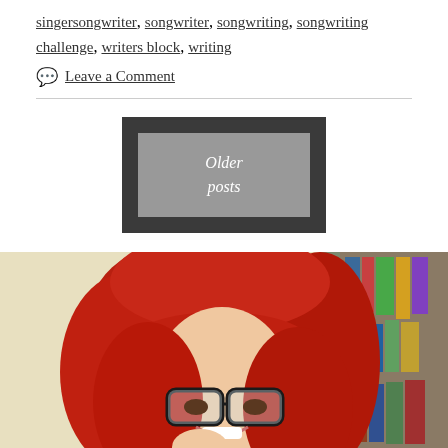singersongwriter, songwriter, songwriting, songwriting challenge, writers block, writing
Leave a Comment
[Figure (other): Navigation button: dark gray outer box containing a lighter gray inner box with italic white text reading 'Older posts']
[Figure (photo): Photo of a woman with bright red hair and black-framed glasses, smiling, with a bookshelf visible in the background on the right side.]